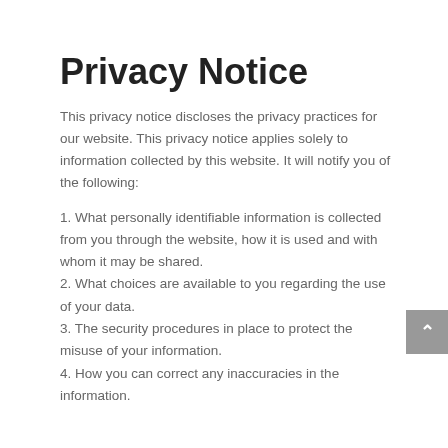Privacy Notice
This privacy notice discloses the privacy practices for our website. This privacy notice applies solely to information collected by this website. It will notify you of the following:
1. What personally identifiable information is collected from you through the website, how it is used and with whom it may be shared.
2. What choices are available to you regarding the use of your data.
3. The security procedures in place to protect the misuse of your information.
4. How you can correct any inaccuracies in the information.